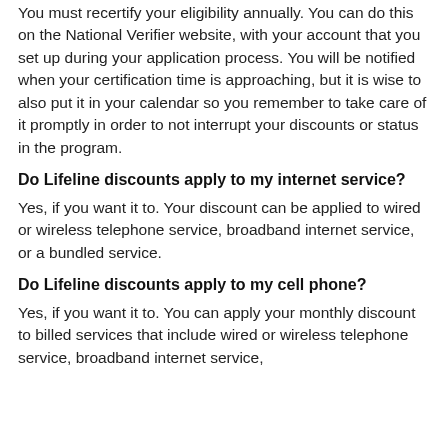You must recertify your eligibility annually. You can do this on the National Verifier website, with your account that you set up during your application process. You will be notified when your certification time is approaching, but it is wise to also put it in your calendar so you remember to take care of it promptly in order to not interrupt your discounts or status in the program.
Do Lifeline discounts apply to my internet service?
Yes, if you want it to. Your discount can be applied to wired or wireless telephone service, broadband internet service, or a bundled service.
Do Lifeline discounts apply to my cell phone?
Yes, if you want it to. You can apply your monthly discount to billed services that include wired or wireless telephone service, broadband internet service,